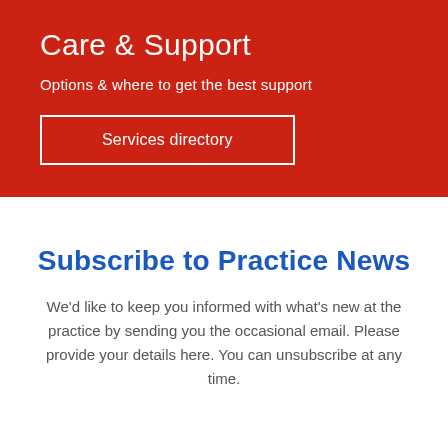Care & Support
Options & where to get the best support
Services directory
Subscribe to Practice News
We'd like to keep you informed with what's new at the practice by sending you the occasional email. Please provide your details here. You can unsubscribe at any time.